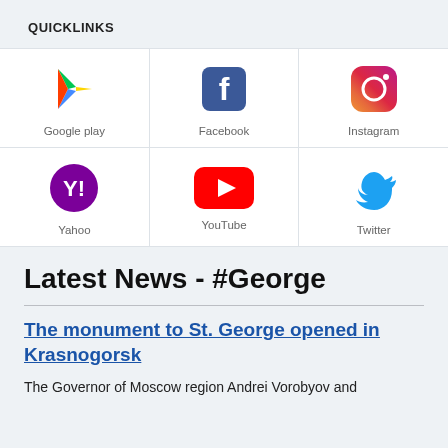QUICKLINKS
[Figure (infographic): Grid of 6 app/social media icons in 2 rows of 3: Google Play, Facebook, Instagram (top row); Yahoo, YouTube, Twitter (bottom row)]
Latest News - #George
The monument to St. George opened in Krasnogorsk
The Governor of Moscow region Andrei Vorobyov and